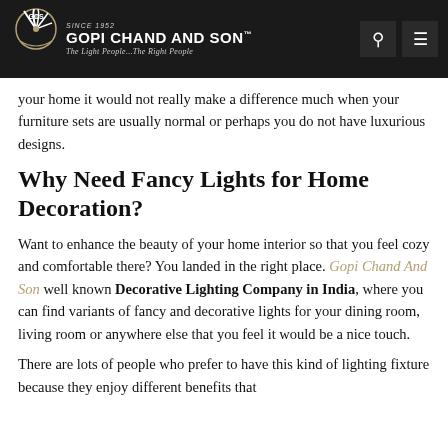Gopi Chand And Son — The Light People...The Right People
your home it would not really make a difference much when your furniture sets are usually normal or perhaps you do not have luxurious designs.
Why Need Fancy Lights for Home Decoration?
Want to enhance the beauty of your home interior so that you feel cozy and comfortable there? You landed in the right place. Gopi Chand And Son well known Decorative Lighting Company in India, where you can find variants of fancy and decorative lights for your dining room, living room or anywhere else that you feel it would be a nice touch.
There are lots of people who prefer to have this kind of lighting fixture because they enjoy different benefits that